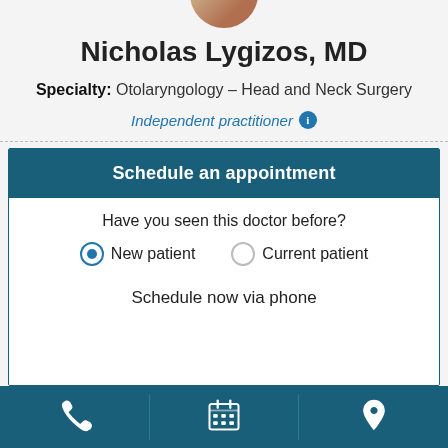[Figure (photo): Partial circular photo of doctor Nicholas Lygizos MD, partially cropped at top of page]
Nicholas Lygizos, MD
Specialty: Otolaryngology – Head and Neck Surgery
Independent practitioner
Schedule an appointment
Have you seen this doctor before?
New patient (selected)
Current patient
Schedule now via phone
[Figure (screenshot): Bottom navigation bar with phone, calendar, and map pin icons]